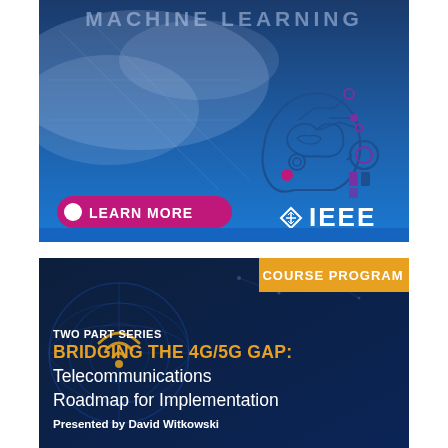[Figure (illustration): IEEE Machine Learning advertisement banner with blue gradient background, robotic AI head illustration with circuit details, a magenta 'LEARN MORE' button, and white IEEE logo at bottom right.]
[Figure (illustration): Course program advertisement for 'Bridging the 4G/5G Gap: Telecommunications Roadmap for Implementation', two-part series presented by David Witkowski, dark navy blue background with globe/wifi icon, orange 'COURSE PROGRAM' label.]